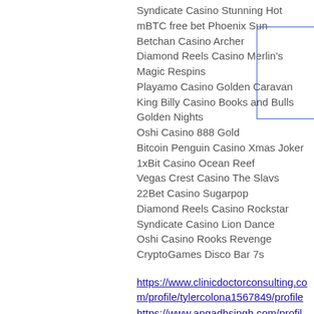Syndicate Casino Stunning Hot
mBTC free bet Phoenix Sun
Betchan Casino Archer
Diamond Reels Casino Merlin's Magic Respins
Playamo Casino Golden Caravan
King Billy Casino Books and Bulls Golden Nights
Oshi Casino 888 Gold
Bitcoin Penguin Casino Xmas Joker
1xBit Casino Ocean Reef
Vegas Crest Casino The Slavs
22Bet Casino Sugarpop
Diamond Reels Casino Rockstar
Syndicate Casino Lion Dance
Oshi Casino Rooks Revenge
CryptoGames Disco Bar 7s
https://www.clinicdoctorconsulting.com/profile/tylercolona1567849/profile
https://www.angadbsingh.com/profile/haldug...profile